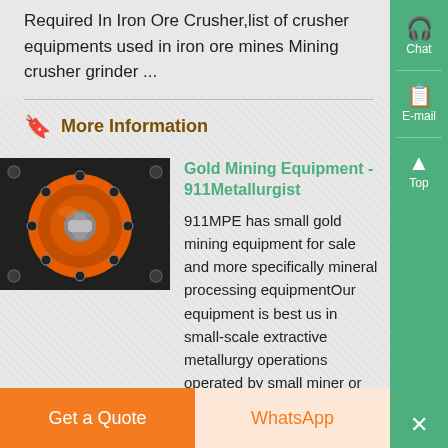Required In Iron Ore Crusher,list of crusher equipments used in iron ore mines Mining crusher grinder ...
More Information
Gold Mining Equipment - 911Metallurgist
[Figure (photo): Close-up of an orange industrial crusher component with bolts and a metal fitting on a dark metal background]
911MPE has small gold mining equipment for sale and more specifically mineral processing equipmentOur equipment is best us in small-scale extractive metallurgy operations operated by small miner or hobbyist prospectors and mining
Get a Quote | WhatsApp